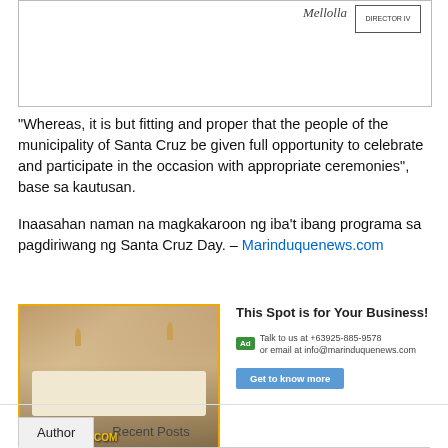[Figure (photo): Scanned document image showing a signature and a box labeled DIRECTOR IV at the top right corner]
“Whereas, it is but fitting and proper that the people of the municipality of Santa Cruz be given full opportunity to celebrate and participate in the occasion with appropriate ceremonies”, base sa kautusan.
Inaasahan naman na magkakaroon ng iba’t ibang programa sa pagdiriwang ng Santa Cruz Day. – Marinduquenews.com
[Figure (photo): Hotel room advertisement image showing a bedroom interior with lamps and bed, with text STAY AT BOACHOTEL.COM overlaid]
This Spot is for Your Business!
Ad  Talk to us at +63925-885-9578 or email at info@marinduquenews.com
Get to know more
Author   Recent Posts